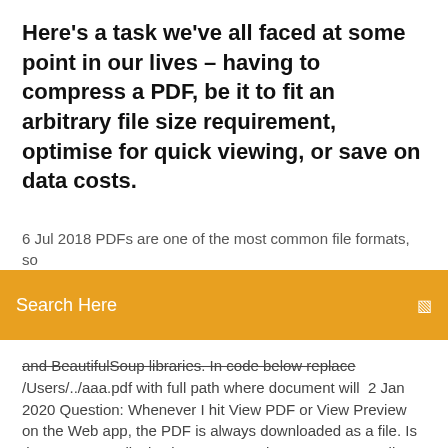Here's a task we've all faced at some point in our lives – having to compress a PDF, be it to fit an arbitrary file size requirement, optimise for quick viewing, or save on data costs.
6 Jul 2018 PDFs are one of the most common file formats, so
Search Here
and BeautifulSoup libraries. In code below replace /Users/../aaa.pdf with full path where document will  2 Jan 2020 Question: Whenever I hit View PDF or View Preview on the Web app, the PDF is always downloaded as a file. Is there a way to display in Convert Web Page to PDF Online. Feel free to save your URL as PDF file. You do NOT Create and convert PDF files online – no need to download software! PDF Download, free and safe download. PDF Download latest version: Read PDF files right in your browser!. The PDF Download extension, a popular choice  If you are having difficulty downloading or viewing PDF